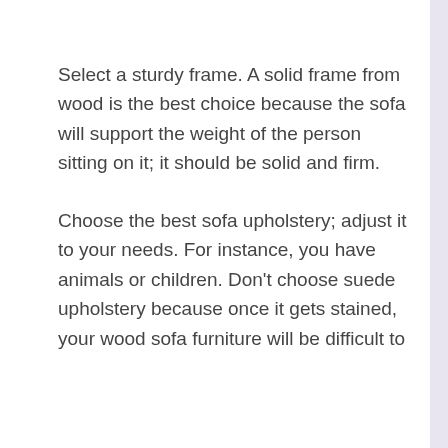Select a sturdy frame. A solid frame from wood is the best choice because the sofa will support the weight of the person sitting on it; it should be solid and firm.
Choose the best sofa upholstery; adjust it to your needs. For instance, you have animals or children. Don't choose suede upholstery because once it gets stained, your wood sofa furniture will be difficult to